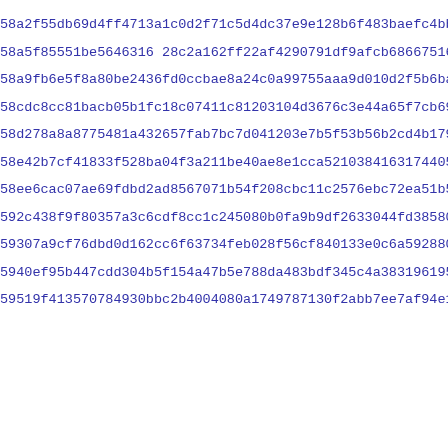58a2f55db69d4ff4713a1c0d2f71c5d4dc37e9e128b6f483baefc4bbf46f0
58a5f85551be5646316 28c2a162ff22af4290791df9afcb68667516db5e2c
58a9fb6e5f8a80be2436fd0ccbae8a24c0a99755aaa9d010d2f5b6baebdbc
58cdc8cc81bacb05b1fc18c07411c81203104d3676c3e44a65f7cb69394bc
58d278a8a8775481a432657fab7bc7d041203e7b5f53b56b2cd4b179a2dbb
58e42b7cf41833f528ba04f3a211be40ae8e1cca52103841631744 05b2b85
58ee6cac07ae69fdbd2ad8567071b54f208cbc11c2576ebc72ea51b5fbaa7
592c438f9f80357a3c6cdf8cc1c245080b0fa9b9df2633044fd38580c2b9a
59307a9cf76dbd0d162cc6f63734feb028f56cf840133e0c6a592880d86fc
5940ef95b447cdd304b5f154a47b5e788da483bdf345c4a383196195b017d
59519f413570784930bbc2b4004080a1749787130f2abb7ee7af94e157d69